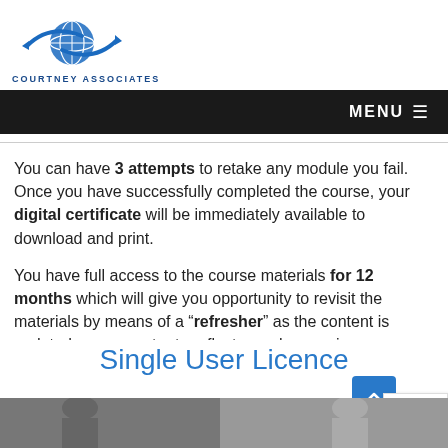[Figure (logo): Courtney Associates logo with globe graphic and blue swoosh]
COURTNEY ASSOCIATES
MENU
You can have 3 attempts to retake any module you fail. Once you have successfully completed the course, your digital certificate will be immediately available to download and print.
You have full access to the course materials for 12 months which will give you opportunity to revisit the materials by means of a “refresher” as the content is updated every quarter to reflect any changes in
Single User Licence